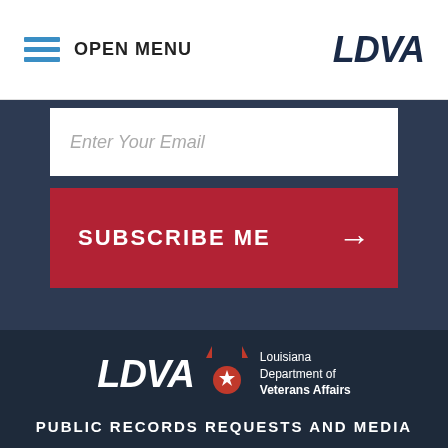OPEN MENU | LDVA
Enter Your Email
SUBSCRIBE ME →
[Figure (logo): LDVA Louisiana Department of Veterans Affairs logo with red military rank insignia]
[Figure (other): Social media icons: Facebook, Twitter, Instagram]
PUBLIC RECORDS REQUESTS AND MEDIA